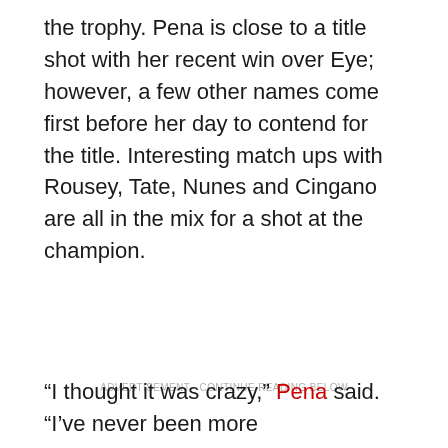the trophy. Pena is close to a title shot with her recent win over Eye; however, a few other names come first before her day to contend for the title. Interesting match ups with Rousey, Tate, Nunes and Cingano are all in the mix for a shot at the champion.
ADVERTISEMENT · CONTINUE READING BELOW
“I thought it was crazy,” Pena said. “I’ve never been more